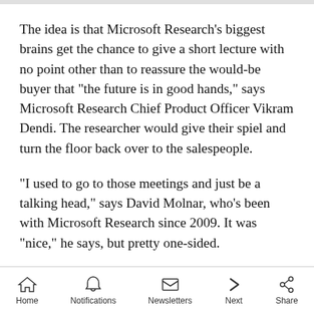The idea is that Microsoft Research's biggest brains get the chance to give a short lecture with no point other than to reassure the would-be buyer that "the future is in good hands," says Microsoft Research Chief Product Officer Vikram Dendi. The researcher would give their spiel and turn the floor back over to the salespeople.
"I used to go to those meetings and just be a talking head," says David Molnar, who's been with Microsoft Research since 2009. It was "nice," he says, but pretty one-sided.
Home   Notifications   Newsletters   Next   Share